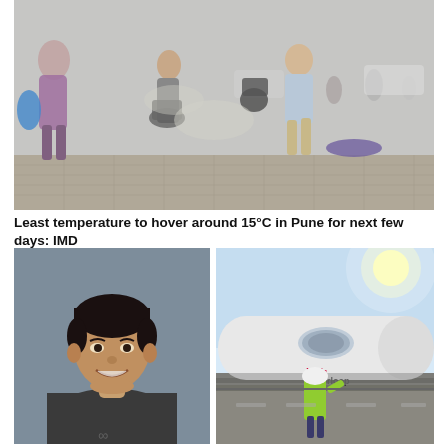[Figure (photo): Street scene with people walking and motorcycles on a hazy, smoggy day. People carrying bags, a man in light blue shirt walking, motorbikes in background with heavy smog/haze.]
Least temperature to hover around 15°C in Pune for next few days: IMD
[Figure (photo): Portrait of a young Indian man smiling, wearing a dark grey t-shirt with an infinity symbol logo.]
[Figure (photo): Virgin Hyperloop pod/capsule vehicle photographed outdoors on a sunny day. A worker in a yellow high-visibility jacket and white helmet stands in front of the large white capsule vehicle. The Virgin Hyperloop branding is visible on the side.]